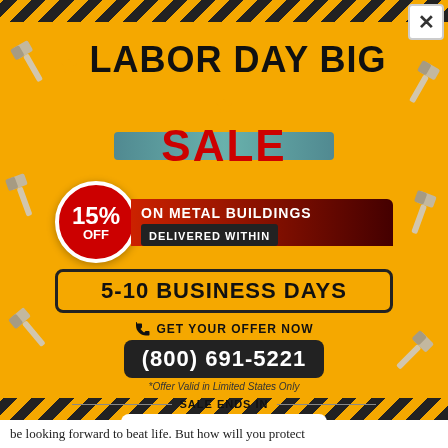★ LABOR DAY BIG ★ SALE
15% OFF ON METAL BUILDINGS DELIVERED WITHIN
5-10 BUSINESS DAYS
GET YOUR OFFER NOW (800) 691-5221
*Offer Valid in Limited States Only
SALE ENDS IN
27 DAYS : 8 HOURS : 31 MINS : 8 SECS
be looking forward to beat life. But how will you protect